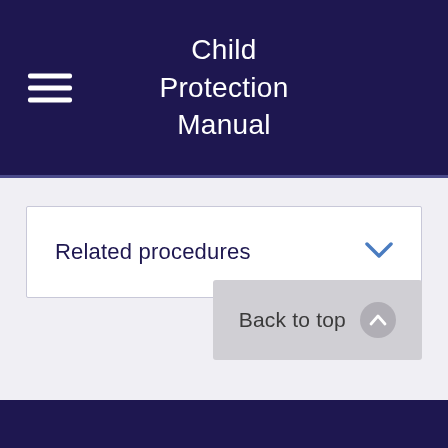Child Protection Manual
Related procedures
Back to top